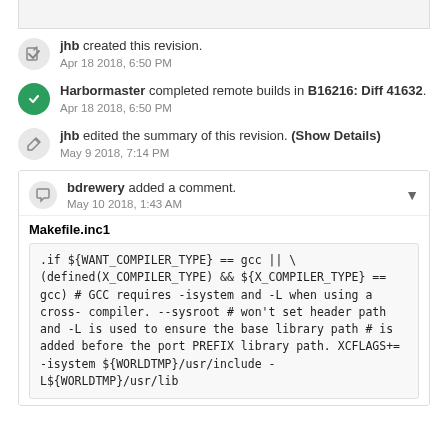jhb created this revision.
Apr 18 2018, 6:50 PM
Harbormaster completed remote builds in B16216: Diff 41632.
Apr 18 2018, 6:50 PM
jhb edited the summary of this revision. (Show Details)
May 9 2018, 7:14 PM
bdrewery added a comment.
May 10 2018, 1:43 AM
Makefile.inc1
.if ${WANT_COMPILER_TYPE} == gcc || \
      (defined(X_COMPILER_TYPE) && ${X_COMPILER_TYPE} == gcc)
# GCC requires -isystem and -L when using a cross-compiler.  --sysroot
# won't set header path and -L is used to ensure the base library path
# is added before the port PREFIX library path.
XCFLAGS+=      -isystem ${WORLDTMP}/usr/include -L${WORLDTMP}/usr/lib